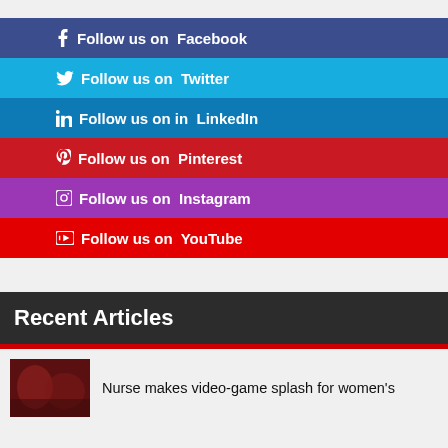Follow us on Facebook
Follow us on Twitter
Follow us on LinkedIn
Follow us on Pinterest
Follow us on Instagram
Follow us on YouTube
Recent Articles
Nurse makes video-game splash for women's